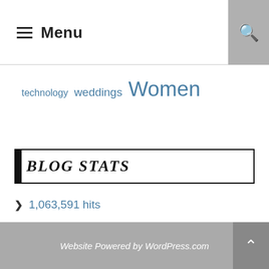Menu
technology   weddings   Women
BLOG STATS
1,063,591 hits
Website Powered by WordPress.com